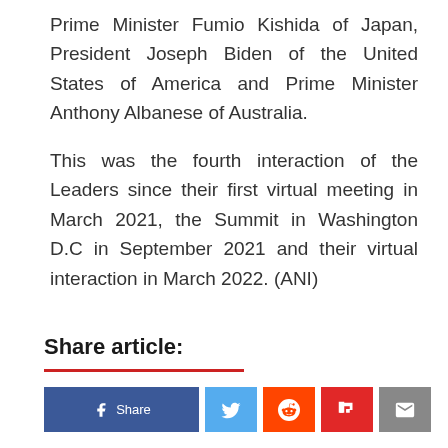Prime Minister Fumio Kishida of Japan, President Joseph Biden of the United States of America and Prime Minister Anthony Albanese of Australia.
This was the fourth interaction of the Leaders since their first virtual meeting in March 2021, the Summit in Washington D.C in September 2021 and their virtual interaction in March 2022. (ANI)
Share article: